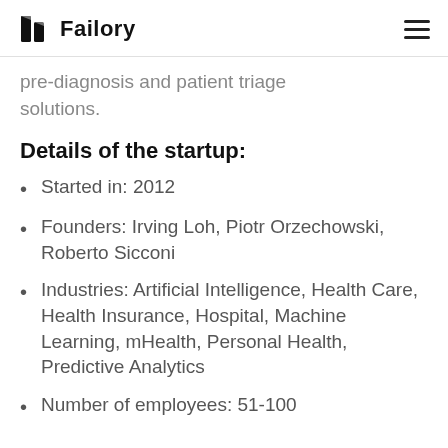Failory
pre-diagnosis and patient triage solutions.
Details of the startup:
Started in: 2012
Founders: Irving Loh, Piotr Orzechowski, Roberto Sicconi
Industries: Artificial Intelligence, Health Care, Health Insurance, Hospital, Machine Learning, mHealth, Personal Health, Predictive Analytics
Number of employees: 51-100